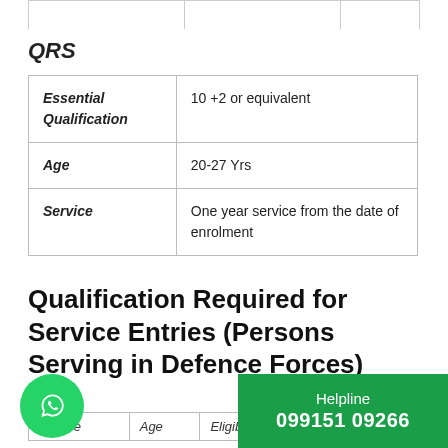QRS
| Essential Qualification | 10 +2 or equivalent |
| Age | 20-27 Yrs |
| Service | One year service from the date of enrolment |
Qualification Required for Service Entries (Persons Serving in Defence Forces)
| Course | Age | Eligibility | Qualific… |
| --- | --- | --- | --- |